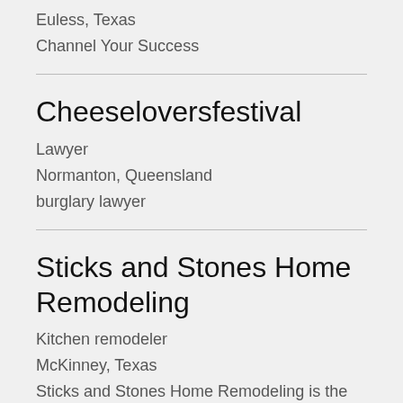Euless, Texas
Channel Your Success
Cheeseloversfestival
Lawyer
Normanton, Queensland
burglary lawyer
Sticks and Stones Home Remodeling
Kitchen remodeler
McKinney, Texas
Sticks and Stones Home Remodeling is the best remodeling company in McKinney, TX